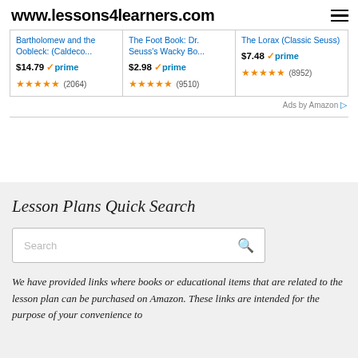www.lessons4learners.com
[Figure (screenshot): Amazon product cards showing three books: Bartholomew and the Oobleck (Caldeco... $14.79 prime 4.5 stars (2064); The Foot Book: Dr. Seuss's Wacky Bo... $2.98 prime 4.5 stars (9510); The Lorax (Classic Seuss) $7.48 prime 4.5 stars (8952)]
Ads by Amazon
Lesson Plans Quick Search
We have provided links where books or educational items that are related to the lesson plan can be purchased on Amazon. These links are intended for the purpose of your convenience to